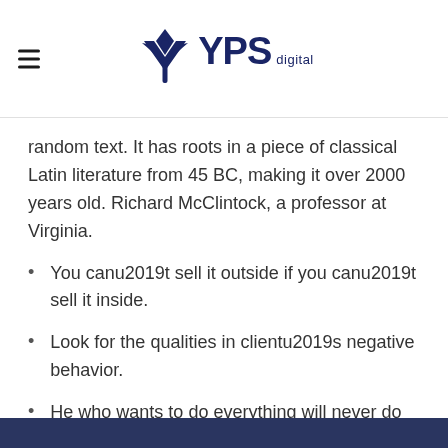YPS digital
random text. It has roots in a piece of classical Latin literature from 45 BC, making it over 2000 years old. Richard McClintock, a professor at Virginia.
You canu2019t sell it outside if you canu2019t sell it inside.
Look for the qualities in clientu2019s negative behavior.
He who wants to do everything will never do anything.